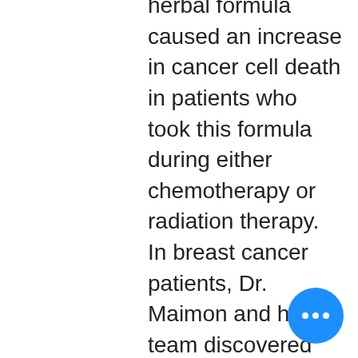herbal formula caused an increase in cancer cell death in patients who took this formula during either chemotherapy or radiation therapy. In breast cancer patients, Dr. Maimon and his team discovered that LCS101 caused a reduction in PARP-1 - an enzyme that is very active in cancer cells – thus causing cancer cells to die. In another study, Dr. Maimon tested the rate of cancer cell death in breast and prostate cancer patients undergoing radiation therapy. He found that the patients taking a high dosage of LCS101 (as opposed to a modest dosage of the formula or none at all) experience the greatest rate of cancer cell death.